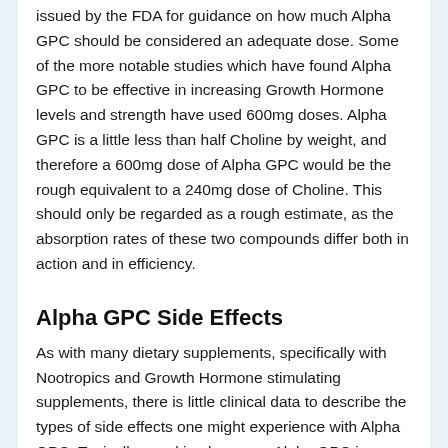issued by the FDA for guidance on how much Alpha GPC should be considered an adequate dose. Some of the more notable studies which have found Alpha GPC to be effective in increasing Growth Hormone levels and strength have used 600mg doses. Alpha GPC is a little less than half Choline by weight, and therefore a 600mg dose of Alpha GPC would be the rough equivalent to a 240mg dose of Choline. This should only be regarded as a rough estimate, as the absorption rates of these two compounds differ both in action and in efficiency.
Alpha GPC Side Effects
As with many dietary supplements, specifically with Nootropics and Growth Hormone stimulating supplements, there is little clinical data to describe the types of side effects one might experience with Alpha GPC. Typically speaking however, Alpha GPC is considered to be a very safe supplement and is well